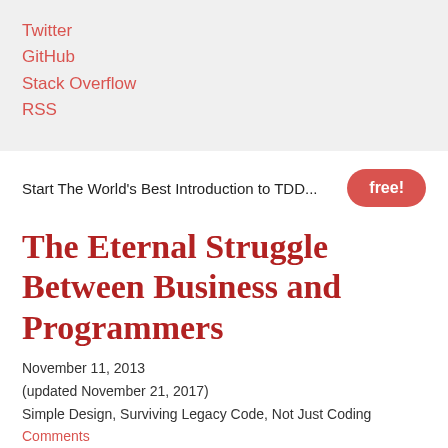Twitter
GitHub
Stack Overflow
RSS
Start The World's Best Introduction to TDD...  free!
The Eternal Struggle Between Business and Programmers
November 11, 2013
(updated November 21, 2017)
Simple Design, Surviving Legacy Code, Not Just Coding
Comments
At Øredev 2013, I asked managers to tell me what makes their job difficult. I spoke to one manager who told me that